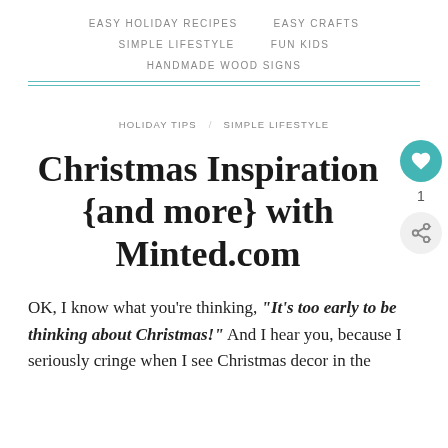EASY HOLIDAY RECIPES   EASY CRAFTS   SIMPLE LIFESTYLE   FUN KIDS   HANDMADE WOOD SIGNS
HOLIDAY TIPS   SIMPLE LIFESTYLE
Christmas Inspiration {and more} with Minted.com
OK, I know what you're thinking, "It's too early to be thinking about Christmas!" And I hear you, because I seriously cringe when I see Christmas decor in the